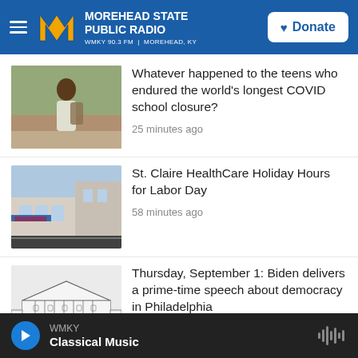MOREHEAD STATE PUBLIC RADIO — WMKY 90.3 FM | MOREHEAD, KY — Donate
Whatever happened to the teens who endured the world's longest COVID school closure? — 25 minutes ago
St. Claire HealthCare Holiday Hours for Labor Day — 58 minutes ago
Thursday, September 1: Biden delivers a prime-time speech about democracy in Philadelphia — 1 hour ago
WMKY — Classical Music